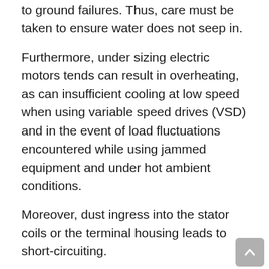to ground failures. Thus, care must be taken to ensure water does not seep in.
Furthermore, under sizing electric motors tends can result in overheating, as can insufficient cooling at low speed when using variable speed drives (VSD) and in the event of load fluctuations encountered while using jammed equipment and under hot ambient conditions.
Moreover, dust ingress into the stator coils or the terminal housing leads to short-circuiting.
Concerns Regarding Battery Pack Power Consumption